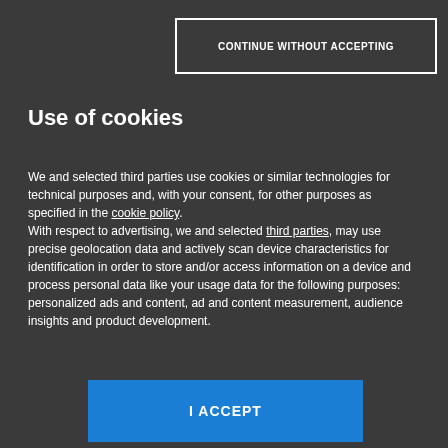CONTINUE WITHOUT ACCEPTING
Use of cookies
We and selected third parties use cookies or similar technologies for technical purposes and, with your consent, for other purposes as specified in the cookie policy.
With respect to advertising, we and selected third parties, may use precise geolocation data and actively scan device characteristics for identification in order to store and/or access information on a device and process personal data like your usage data for the following purposes: personalized ads and content, ad and content measurement, audience insights and product development.
I ACCEPT
CUSTOMIZE
[Figure (logo): Mondadori Media logo with red triangle icon and bold text]
SHOWROOM MILANO_first floor working-area-372x182.ing""orientation":"landscape"}}}